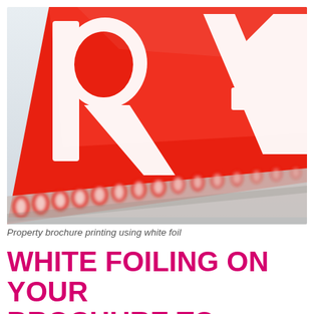[Figure (photo): Close-up photograph of a red spiral-bound brochure/notebook with large white bold letters (partial letters visible, appearing to show 'RA' or similar) on the cover, shot at an angle showing the spiral binding along the bottom edge. The background is a light grey/white gradient.]
Property brochure printing using white foil
WHITE FOILING ON YOUR BROCHURE TO CATCH ATTENTION